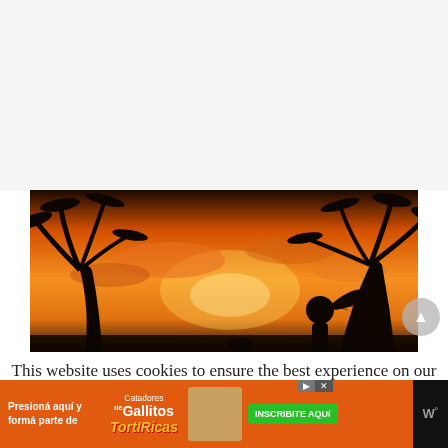[Figure (photo): Silhouette of a person holding a decorative fan against a vivid orange tropical sunset sky with palm trees]
This website uses cookies to ensure the best experience on our site (only the tasteless robot kind). If you continue to use this site, you are agreeing to the privacy policy.
[Figure (screenshot): Advertisement bar: 'Presioná aquí y formá parte de Catadores de Gallitos TortiRicas' with INSCRIBITE AQUí button and food image]